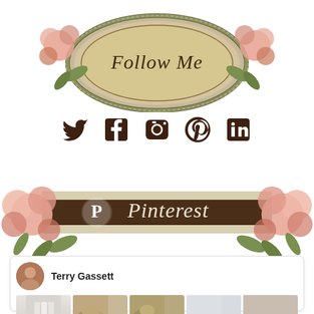[Figure (illustration): Ornate vintage oval frame with pink roses and floral decoration, containing the cursive text 'Follow Me' on a aged parchment background]
[Figure (infographic): Row of five social media icons in dark brown: Twitter bird, Facebook f, Instagram camera, Pinterest p, LinkedIn in]
[Figure (illustration): Pinterest banner with pink roses on both sides flanking a dark brown textured ribbon banner with Pinterest logo (P icon) and cursive text 'Pinterest']
[Figure (screenshot): Pinterest profile card for Terry Gassett showing avatar photo of a woman, name in bold, and a row of thumbnail images including white cylinders, tan/beige cushions, sand-colored items, light grey swatch, and taupe/beige swatch]